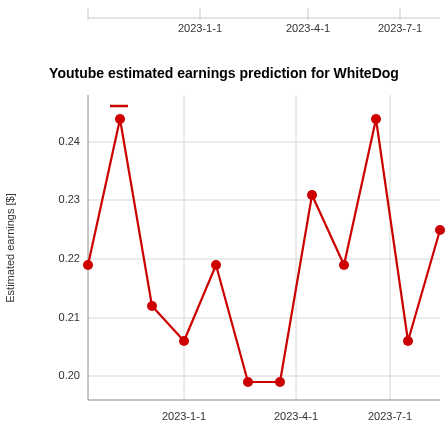[Figure (line-chart): Youtube estimated earnings prediction for WhiteDog]